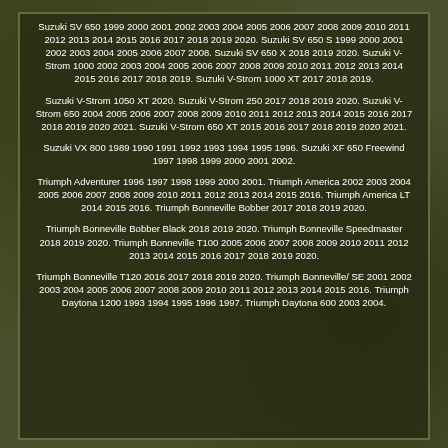Suzuki SV 650 1999 2000 2001 2002 2003 2004 2005 2006 2007 2008 2009 2010 2011 2012 2013 2014 2015 2016 2017 2018 2019 2020. Suzuki SV 650 S 1999 2000 2001 2002 2003 2004 2005 2006 2007 2008. Suzuki SV 650 X 2018 2019 2020. Suzuki V-Strom 1000 2002 2003 2004 2005 2006 2007 2008 2009 2010 2011 2012 2013 2014 2015 2016 2017 2018 2019. Suzuki V-Strom 1000 XT 2017 2018 2019.
Suzuki V-Strom 1050 XT 2020. Suzuki V-Strom 250 2017 2018 2019 2020. Suzuki V-Strom 650 2004 2005 2006 2007 2008 2009 2010 2011 2012 2013 2014 2015 2016 2017 2018 2019 2020 2021. Suzuki V-Strom 650 XT 2015 2016 2017 2018 2019 2020 2021.
Suzuki VX 800 1989 1990 1991 1992 1993 1994 1995 1996. Suzuki XF 650 Freewind 1997 1998 1999 2000 2001 2002.
Triumph Adventurer 1996 1997 1998 1999 2000 2001. Triumph America 2002 2003 2004 2005 2006 2007 2008 2009 2010 2011 2012 2013 2014 2015 2016. Triumph America LT 2014 2015 2016. Triumph Bonneville Bobber 2017 2018 2019 2020.
Triumph Bonneville Bobber Black 2018 2019 2020. Triumph Bonneville Speedmaster 2018 2019 2020. Triumph Bonneville T100 2005 2006 2007 2008 2009 2010 2011 2012 2013 2014 2015 2016 2017 2018 2019 2020.
Triumph Bonneville T120 2016 2017 2018 2019 2020. Triumph Bonneville/ SE 2001 2002 2003 2004 2005 2006 2007 2008 2009 2010 2011 2012 2013 2014 2015 2016. Triumph Daytona 1200 1993 1994 1995 1996 1997. Triumph Daytona 600 2003 2004.